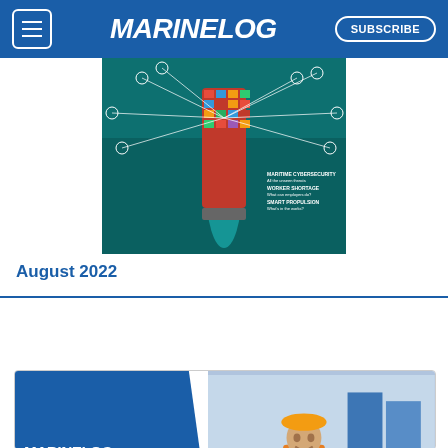MARINELOG | SUBSCRIBE
[Figure (photo): Marine Log magazine cover for August 2022 showing aerial view of container ship with cybersecurity infographic lines, topics: Maritime Cybersecurity, Worker Shortage, Smart Propulsion]
August 2022
[Figure (infographic): Marine Log advertisement banner: 'Helping You Make Informed Decisions - LOOKING TO FIND THE BEST TALENT FOR YOUR COMPANY?' with worker in hard hat]